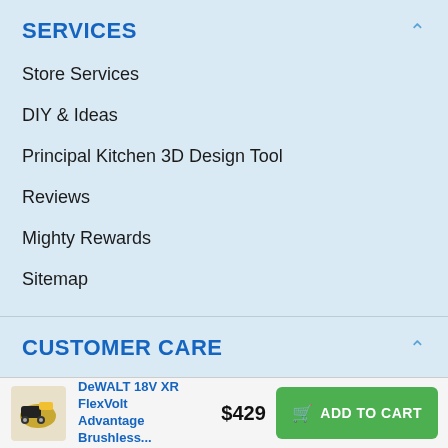SERVICES
Store Services
DIY & Ideas
Principal Kitchen 3D Design Tool
Reviews
Mighty Rewards
Sitemap
CUSTOMER CARE
DeWALT 18V XR FlexVolt Advantage Brushless...
$429
ADD TO CART